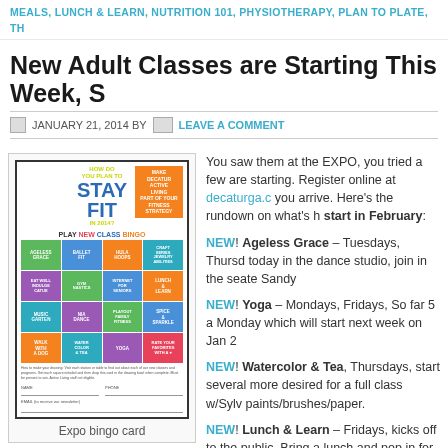MEALS, LUNCH & LEARN, NUTRITION 101, PHYSIOTHERAPY, PLAN TO PLATE, TH
New Adult Classes are Starting This Week, S
JANUARY 21, 2014 BY   LEAVE A COMMENT
[Figure (illustration): Expo bingo card showing 'How Do You Plan To Stay Fit In 2014? Make Decatur Active Living Part of Your Fitness Strategy' with a 4x4 bingo grid of colorful class name tiles including Ageless Grace, Ballet Fit, Hula Hoops, Craft Series, Eat Well Indulge Catue, Gym Nastics, Internet for Seniors, Lunch & Learn, Music Garten, Nia Dance, Playout Family Fitness, Spice & Sparkle, Walk with a Dog, Water Color & Tea, Yoga, and a red heart tile.]
Expo bingo card
You saw them at the EXPO, you tried a few are starting. Register online at decaturga.c you arrive. Here's the rundown on what's h start in February:
NEW! Ageless Grace – Tuesdays, Thursd today in the dance studio, join in the seate Sandy
NEW! Yoga – Mondays, Fridays, So far 5 a Monday which will start next week on Jan 2
NEW! Watercolor & Tea, Thursdays, start several more desired for a full class w/Sylv paints/brushes/paper.
NEW! Lunch & Learn – Fridays, kicks off to the public, Bring a lunch and pop in for a